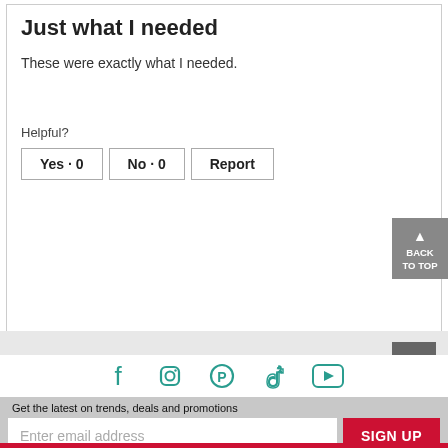Just what I needed
These were exactly what I needed.
Helpful?
Yes · 0   No · 0   Report
1-8 of 77 Reviews
Get the latest on trends, deals and promotions
Enter email address
SIGN UP
[Figure (other): Social media icons: Facebook, Instagram, Pinterest, TikTok, YouTube in teal color]